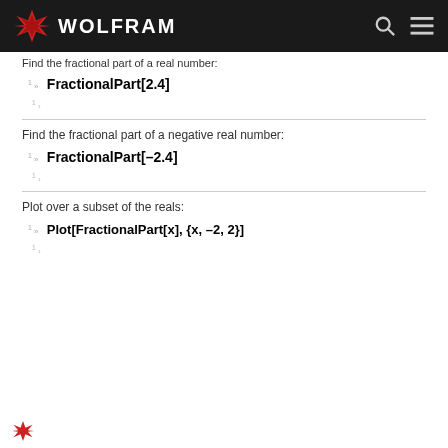WOLFRAM
Find the fractional part of a real number:
Find the fractional part of a negative real number:
Plot over a subset of the reals: